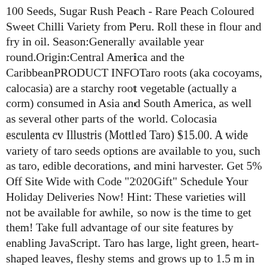100 Seeds, Sugar Rush Peach - Rare Peach Coloured Sweet Chilli Variety from Peru. Roll these in flour and fry in oil. Season:Generally available year round.Origin:Central America and the CaribbeanPRODUCT INFOTaro roots (aka cocoyams, calocasia) are a starchy root vegetable (actually a corm) consumed in Asia and South America, as well as several other parts of the world. Colocasia esculenta cv Illustris (Mottled Taro) $15.00. A wide variety of taro seeds options are available to you, such as taro, edible decorations, and mini harvester. Get 5% Off Site Wide with Code "2020Gift" Schedule Your Holiday Deliveries Now! Hint: These varieties will not be available for awhile, so now is the time to get them! Take full advantage of our site features by enabling JavaScript. Taro has large, light green, heart-shaped leaves, fleshy stems and grows up to 1.5 m in height. 6 types of cannas, Canna X generalis Dr Eisler Canna X generalis 'S. 00. Specifications : Quantity : 100 pcs. To be competitive on the export market, production systems for taro in Australia need to be more efficient, with increased mechanisation being a key component of greater efficiency. Fresh Taro Roots for sale in bulk. Amazon.com : SD0117 Taro Seeds, Taro Root Plant Seeds, Live Fresh Seed (1 Seed) : Sweet Potato Plants : Garden & Outdoor When planted in tilled soil, Taro Seedwill produce Taro. Add to Cart. Onetouch WHAT: Hawaiian Taro Plant Sale. Kaimus Seeds - Taro Seeds Organic Non-GMO Vegetable Seeds Green Giant Taro Indoor Plants Bonsai Vegetable Plants Seeds £3.55 £ 3. Add to Cart. Yakiima TARO for more do Water Grown Taro and Live